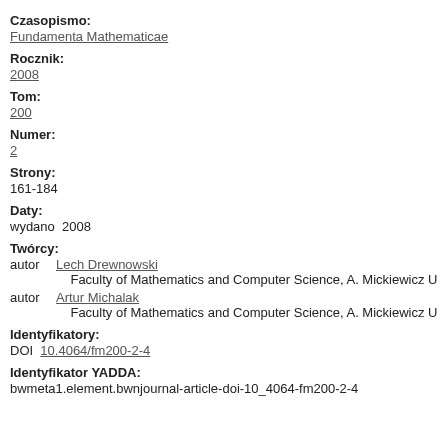Czasopismo: Fundamenta Mathematicae
Rocznik: 2008
Tom: 200
Numer: 2
Strony: 161-184
Daty: wydano 2008
Twórcy: autor Lech Drewnowski Faculty of Mathematics and Computer Science, A. Mickiewicz U.; autor Artur Michalak Faculty of Mathematics and Computer Science, A. Mickiewicz U.
Identyfikatory: DOI 10.4064/fm200-2-4
Identyfikator YADDA: bwmeta1.element.bwnjournal-article-doi-10_4064-fm200-2-4